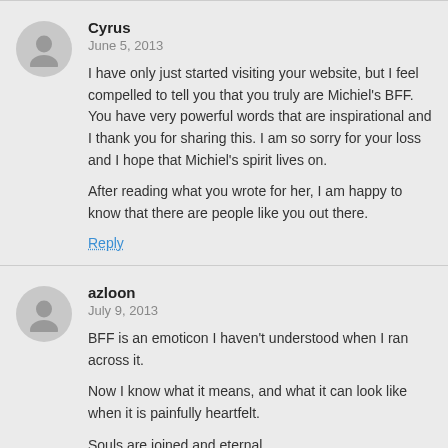Cyrus
June 5, 2013
I have only just started visiting your website, but I feel compelled to tell you that you truly are Michiel's BFF. You have very powerful words that are inspirational and I thank you for sharing this. I am so sorry for your loss and I hope that Michiel's spirit lives on.

After reading what you wrote for her, I am happy to know that there are people like you out there.
Reply
azloon
July 9, 2013
BFF is an emoticon I haven't understood when I ran across it.

Now I know what it means, and what it can look like when it is painfully heartfelt.

Souls are joined and eternal.

Holding hands is the best.